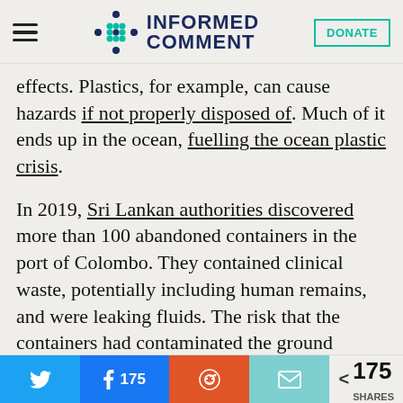[Figure (logo): Informed Comment website header with hamburger menu, logo (stylized dot pattern icon with INFORMED COMMENT text), and DONATE button]
effects. Plastics, for example, can cause hazards if not properly disposed of. Much of it ends up in the ocean, fuelling the ocean plastic crisis.
In 2019, Sri Lankan authorities discovered more than 100 abandoned containers in the port of Colombo. They contained clinical waste, potentially including human remains, and were leaking fluids. The risk that the containers had contaminated the ground
175 SHARES (Twitter, Facebook 175, Reddit, Email share buttons)